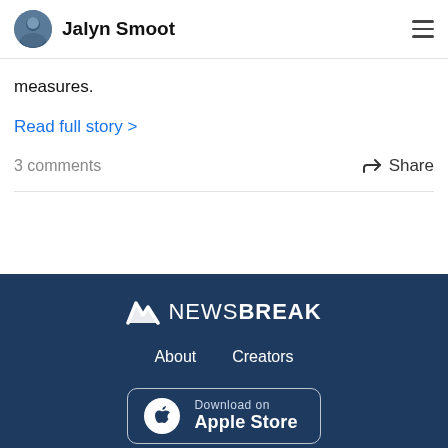Jalyn Smoot
measures.
Read full story >
3 comments
Share
NEWSBREAK  About  Creators  Download on Apple Store